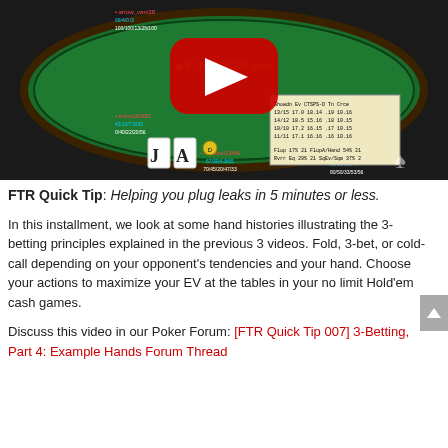[Figure (screenshot): Screenshot of a poker table software with HUD statistics showing multiple players, a YouTube play button overlay in the center, and the FLR Poker .com logo. Shows player stats like VPIP/PFR/AF and other stats around the table edges.]
FTR Quick Tip: Helping you plug leaks in 5 minutes or less.
In this installment, we look at some hand histories illustrating the 3-betting principles explained in the previous 3 videos. Fold, 3-bet, or cold-call depending on your opponent’s tendencies and your hand. Choose your actions to maximize your EV at the tables in your no limit Hold’em cash games.
Discuss this video in our Poker Forum: [FTR Quick Tip 007] 3-Betting, Part 4: Example Hands Forum Thread